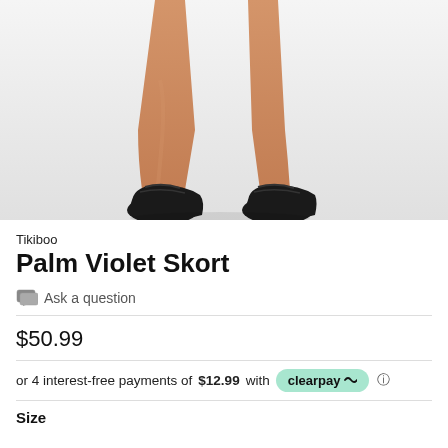[Figure (photo): Close-up photo of a person's legs from the knees down, wearing black athletic shoes/sneakers, standing against a light grey/white background. The person appears to be wearing a skort.]
Tikiboo
Palm Violet Skort
Ask a question
$50.99
or 4 interest-free payments of $12.99 with clearpay
Size